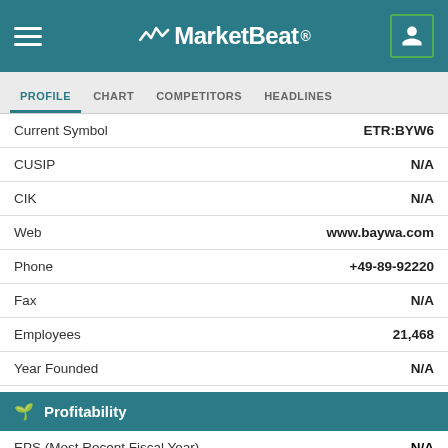MarketBeat
PROFILE  CHART  COMPETITORS  HEADLINES
| Field | Value |
| --- | --- |
| Current Symbol | ETR:BYW6 |
| CUSIP | N/A |
| CIK | N/A |
| Web | www.baywa.com |
| Phone | +49-89-92220 |
| Fax | N/A |
| Employees | 21,468 |
| Year Founded | N/A |
Profitability
| Metric | Value |
| --- | --- |
| EPS (Most Recent Fiscal Year) | N/A |
| Trailing P/E Ratio | 10.88 |
| Forward P/E Ratio | 18.34 |
| P/E Growth | 0.39 |